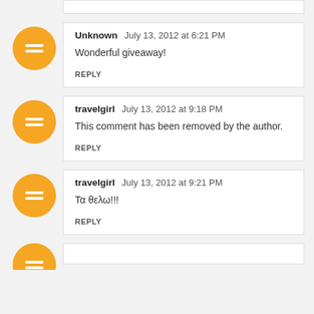[Figure (other): Blogger avatar icon - orange circle with white equals/lines symbol]
Unknown  July 13, 2012 at 6:21 PM
Wonderful giveaway!
REPLY
[Figure (other): Blogger avatar icon - orange circle with white equals/lines symbol]
travelgirl  July 13, 2012 at 9:18 PM
This comment has been removed by the author.
REPLY
[Figure (other): Blogger avatar icon - orange circle with white equals/lines symbol]
travelgirl  July 13, 2012 at 9:21 PM
Τα θελω!!!
REPLY
[Figure (other): Blogger avatar icon - orange circle with white equals/lines symbol (partial)]